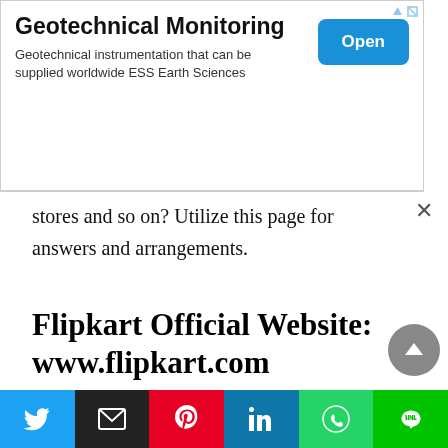[Figure (screenshot): Advertisement banner for Geotechnical Monitoring by ESS Earth Sciences with an Open button]
stores and so on? Utilize this page for answers and arrangements.
Flipkart Official Website: www.flipkart.com
This is the authority site URL of the organization, by following this connection client can visit their authority site where they can peruse their whole approaches and terms and conditions too. If you don't mind note,
[Figure (screenshot): Social share bar with Twitter, Email, Pinterest, LinkedIn, WhatsApp, and Line buttons]